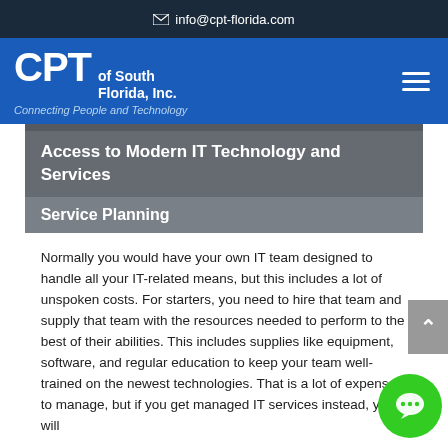✉ info@cpt-florida.com
[Figure (logo): CPT of South Florida, Inc. logo with tagline 'Connecting People and Technology' on blue navigation bar]
Access to Modern IT Technology and Services
Service Planning
Normally you would have your own IT team designed to handle all your IT-related means, but this includes a lot of unspoken costs. For starters, you need to hire that team and supply that team with the resources needed to perform to the best of their abilities. This includes supplies like equipment, software, and regular education to keep your team well-trained on the newest technologies. That is a lot of expenses to manage, but if you get managed IT services instead, you will